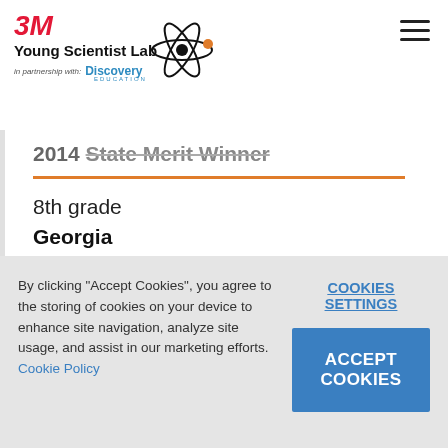3M Young Scientist Lab in partnership with Discovery Education
2014 State Merit Winner
8th grade
Georgia
By clicking "Accept Cookies", you agree to the storing of cookies on your device to enhance site navigation, analyze site usage, and assist in our marketing efforts. Cookie Policy
COOKIES SETTINGS
ACCEPT COOKIES